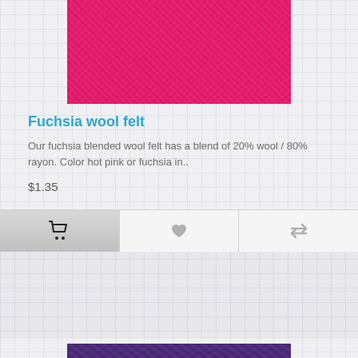[Figure (photo): Fuchsia/hot pink wool felt fabric texture swatch]
Fuchsia wool felt
Our fuchsia blended wool felt has a blend of 20% wool / 80% rayon. Color hot pink or fuchsia in..
$1.35
[Figure (photo): Purple wool felt fabric texture swatch]